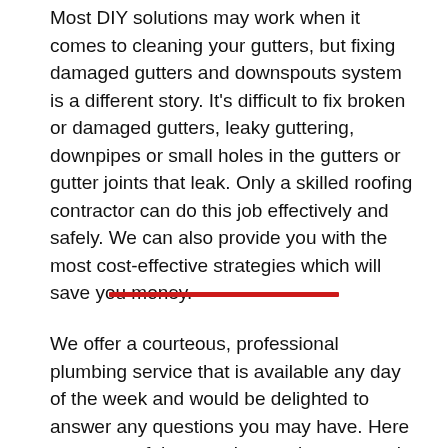Most DIY solutions may work when it comes to cleaning your gutters, but fixing damaged gutters and downspouts system is a different story. It's difficult to fix broken or damaged gutters, leaky guttering, downpipes or small holes in the gutters or gutter joints that leak. Only a skilled roofing contractor can do this job effectively and safely. We can also provide you with the most cost-effective strategies which will save you money.
We offer a courteous, professional plumbing service that is available any day of the week and would be delighted to answer any questions you may have. Here are some of the questions we're commonly